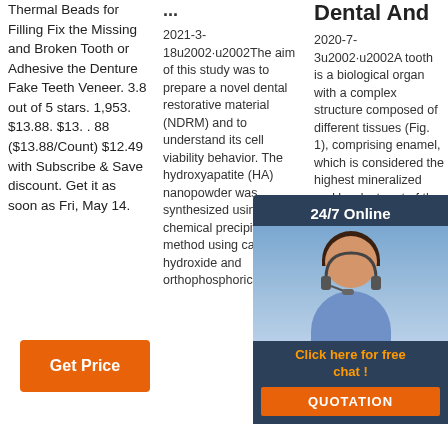Thermal Beads for Filling Fix the Missing and Broken Tooth or Adhesive the Denture Fake Teeth Veneer. 3.8 out of 5 stars. 1,953. $13.88. $13. . 88 ($13.88/Count) $12.49 with Subscribe & Save discount. Get it as soon as Fri, May 14.
...
Dental And
2021-3-18u2002·u2002The aim of this study was to prepare a novel dental restorative material (NDRM) and to understand its cell viability behavior. The hydroxyapatite (HA) nanopowder was synthesized using a wet chemical precipitation method using calcium hydroxide and orthophosphoric acid as
2020-7-3u2002·u2002A tooth is a biological organ with a complex structure composed of different tissues (Fig. 1), comprising enamel, which is considered the highest mineralized and hardest part of the tooth that is by weight consists mainly of 4% organic materials and water and approximately
[Figure (photo): Customer service representative woman with headset smiling, overlaid on dark blue chat popup panel with '24/7 Online' header, 'Click here for free chat!' link in orange text, and orange 'QUOTATION' button]
[Figure (logo): Orange dots arranged in triangle pattern above orange 'TOP' text logo]
Get Price